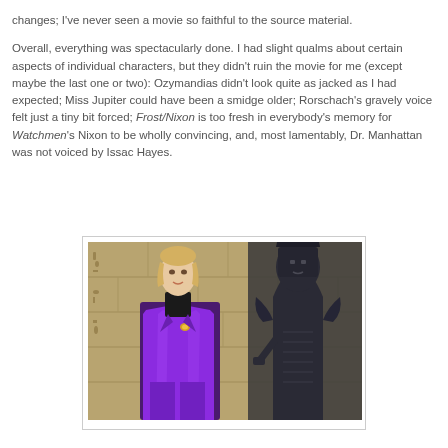changes; I've never seen a movie so faithful to the source material.
Overall, everything was spectacularly done. I had slight qualms about certain aspects of individual characters, but they didn't ruin the movie for me (except maybe the last one or two): Ozymandias didn't look quite as jacked as I had expected; Miss Jupiter could have been a smidge older; Rorschach's gravely voice felt just a tiny bit forced; Frost/Nixon is too fresh in everybody's memory for Watchmen's Nixon to be wholly convincing, and, most lamentably, Dr. Manhattan was not voiced by Issac Hayes.
[Figure (photo): A man in a shiny purple suit with a black turtleneck and gold brooch stands in front of an Egyptian-themed background with a dark statue of a deity on the right side.]